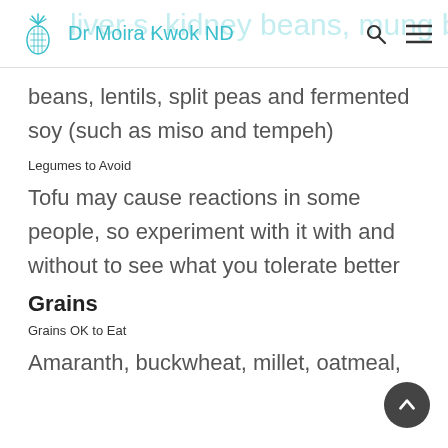Dr Moira Kwok ND
beans, lentils, split peas and fermented soy (such as miso and tempeh)
Legumes to Avoid
Tofu may cause reactions in some people, so experiment with it with and without to see what you tolerate better
Grains
Grains OK to Eat
Amaranth, buckwheat, millet, oatmeal,